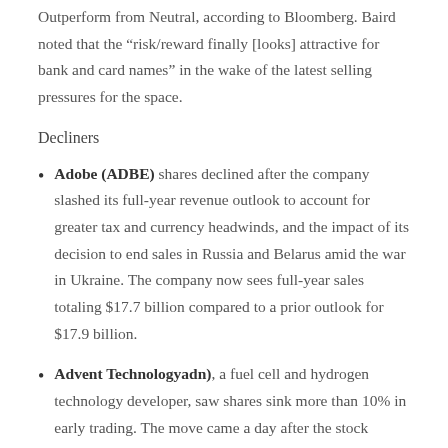Outperform from Neutral, according to Bloomberg. Baird noted that the “risk/reward finally [looks] attractive for bank and card names” in the wake of the latest selling pressures for the space.
Decliners
Adobe (ADBE) shares declined after the company slashed its full-year revenue outlook to account for greater tax and currency headwinds, and the impact of its decision to end sales in Russia and Belarus amid the war in Ukraine. The company now sees full-year sales totaling $17.7 billion compared to a prior outlook for $17.9 billion.
Advent Technologyadn), a fuel cell and hydrogen technology developer, saw shares sink more than 10% in early trading. The move came a day after the stock skyrocketed by more than 200%, after the company announced it received a funding notification for about $821